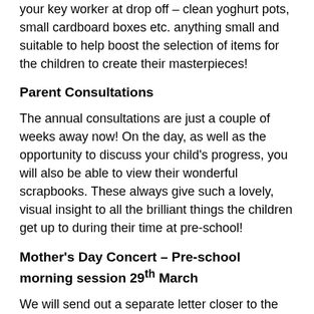your key worker at drop off – clean yoghurt pots, small cardboard boxes etc. anything small and suitable to help boost the selection of items for the children to create their masterpieces!
Parent Consultations
The annual consultations are just a couple of weeks away now! On the day, as well as the opportunity to discuss your child's progress, you will also be able to view their wonderful scrapbooks. These always give such a lovely, visual insight to all the brilliant things the children get up to during their time at pre-school!
Mother's Day Concert – Pre-school morning session 29th March
We will send out a separate letter closer to the day, with details for all sessions on the concert. For the child...